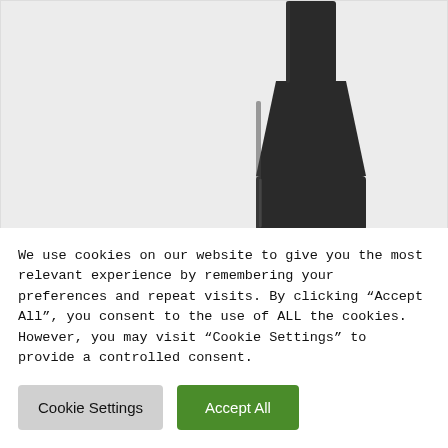[Figure (photo): Partial photo of a matte black bathroom faucet/tap base on a light gray background, cropped at top showing tapered cylindrical base]
AMAZING FORCE Black Bathroom Faucet Black Single Hole Bathroom Sink Faucet Single Handle Matte Black Bathroom
We use cookies on our website to give you the most relevant experience by remembering your preferences and repeat visits. By clicking "Accept All", you consent to the use of ALL the cookies. However, you may visit "Cookie Settings" to provide a controlled consent.
Cookie Settings
Accept All